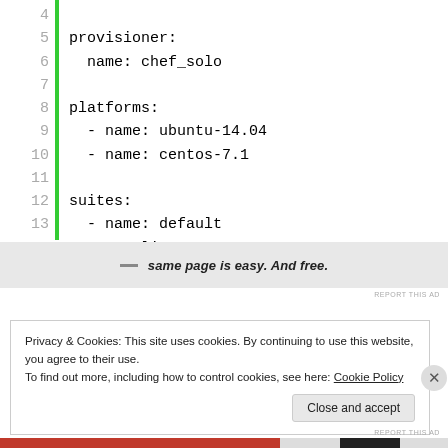[Figure (screenshot): Code block showing YAML configuration with line numbers 4-15. Green vertical bar on left. Content includes provisioner (chef_solo), platforms (ubuntu-14.04, centos-7.1), and suites (default with run_list and attributes).]
same page is easy. And free.
REPORT THIS AD
Privacy & Cookies: This site uses cookies. By continuing to use this website, you agree to their use.
To find out more, including how to control cookies, see here: Cookie Policy